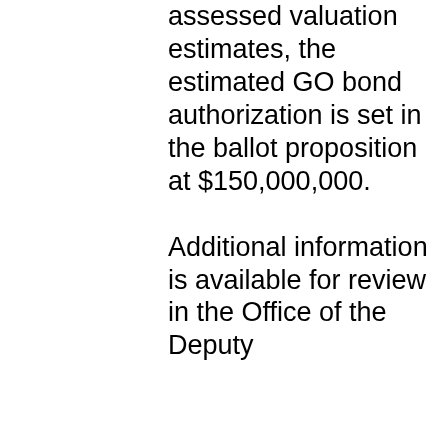assessed valuation estimates, the estimated GO bond authorization is set in the ballot proposition at $150,000,000.

Additional information is available for review in the Office of the Deputy